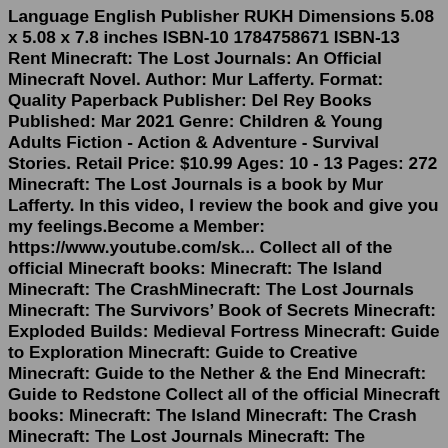Language English Publisher RUKH Dimensions 5.08 x 5.08 x 7.8 inches ISBN-10 1784758671 ISBN-13 Rent Minecraft: The Lost Journals: An Official Minecraft Novel. Author: Mur Lafferty. Format: Quality Paperback Publisher: Del Rey Books Published: Mar 2021 Genre: Children & Young Adults Fiction - Action & Adventure - Survival Stories. Retail Price: $10.99 Ages: 10 - 13 Pages: 272 Minecraft: The Lost Journals is a book by Mur Lafferty. In this video, I review the book and give you my feelings.Become a Member: https://www.youtube.com/sk... Collect all of the official Minecraft books: Minecraft: The Island Minecraft: The CrashMinecraft: The Lost Journals Minecraft: The Survivors' Book of Secrets Minecraft: Exploded Builds: Medieval Fortress Minecraft: Guide to Exploration Minecraft: Guide to Creative Minecraft: Guide to the Nether & the End Minecraft: Guide to Redstone Collect all of the official Minecraft books: Minecraft: The Island Minecraft: The Crash Minecraft: The Lost Journals Minecraft: The Survivors' Book of Secrets Minecraft: Exploded